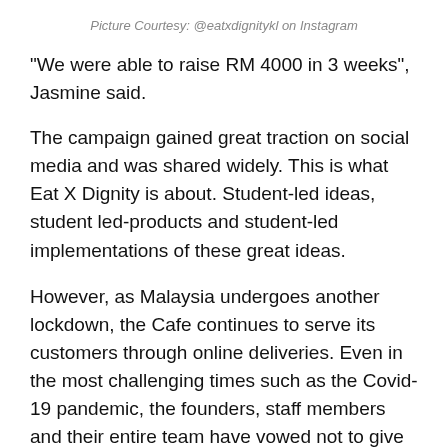Picture Courtesy: @eatxdignitykl on Instagram
"We were able to raise RM 4000 in 3 weeks", Jasmine said.
The campaign gained great traction on social media and was shared widely. This is what Eat X Dignity is about. Student-led ideas, student led-products and student-led implementations of these great ideas.
However, as Malaysia undergoes another lockdown, the Cafe continues to serve its customers through online deliveries. Even in the most challenging times such as the Covid-19 pandemic, the founders, staff members and their entire team have vowed not to give up. It is all because of the unwavering passion of the co-founders. They strongly believe in uplifting one another and not giving up on dreams.